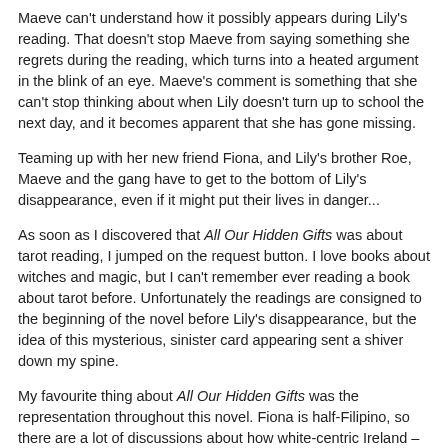Maeve can't understand how it possibly appears during Lily's reading. That doesn't stop Maeve from saying something she regrets during the reading, which turns into a heated argument in the blink of an eye. Maeve's comment is something that she can't stop thinking about when Lily doesn't turn up to school the next day, and it becomes apparent that she has gone missing.
Teaming up with her new friend Fiona, and Lily's brother Roe, Maeve and the gang have to get to the bottom of Lily's disappearance, even if it might put their lives in danger...
As soon as I discovered that All Our Hidden Gifts was about tarot reading, I jumped on the request button. I love books about witches and magic, but I can't remember ever reading a book about tarot before. Unfortunately the readings are consigned to the beginning of the novel before Lily's disappearance, but the idea of this mysterious, sinister card appearing sent a shiver down my spine.
My favourite thing about All Our Hidden Gifts was the representation throughout this novel. Fiona is half-Filipino, so there are a lot of discussions about how white-centric Ireland – and particularly Maeve and Fiona's Catholic school – are, and the way that Fiona is demonised in the street due to the colour of her skin. Roe is non-binary (although still uses he/him pronouns) and bisexual, and throughout the novel he experiments with his portrayal of gender, wearing nail varnish and performing on stage in luxurious capes and dresses. Similarly to Fiona, Roe experiences